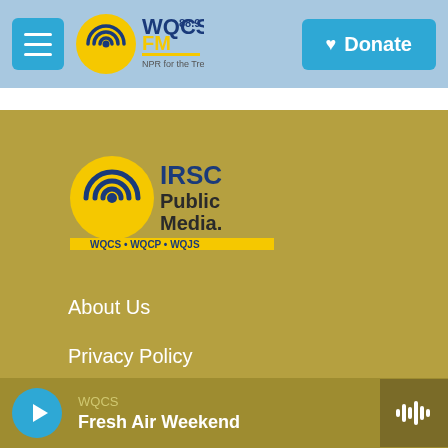WQCS 88.9 FM — NPR for the Treasure Coast | Donate
[Figure (logo): IRSC Public Media logo with circular antenna icon and text: IRSC Public Media, WQCS • WQCP • WQJS]
About Us
Privacy Policy
Public File
Facebook
WQCS — Fresh Air Weekend